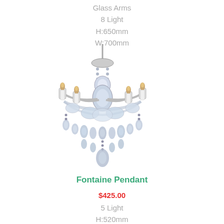Glass Arms
8 Light
H:650mm
W:700mm
[Figure (photo): Crystal chandelier with 5 arms, candle-style bulbs, and hanging crystal droplets — Fontaine Pendant]
Fontaine Pendant
$425.00
5 Light
H:520mm
W:450